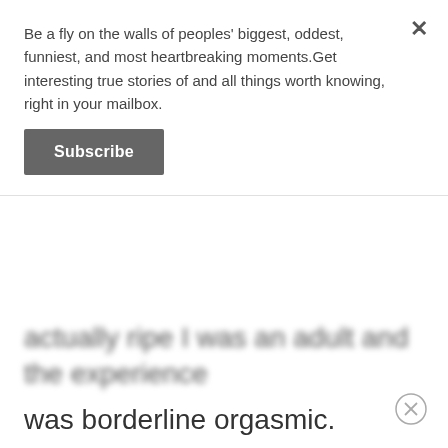Be a fly on the walls of peoples' biggest, oddest, funniest, and most heartbreaking moments.Get interesting true stories of and all things worth knowing, right in your mailbox.
Subscribe
actually ripe I was an adult and the experience was borderline orgasmic.
noprods_nobastards